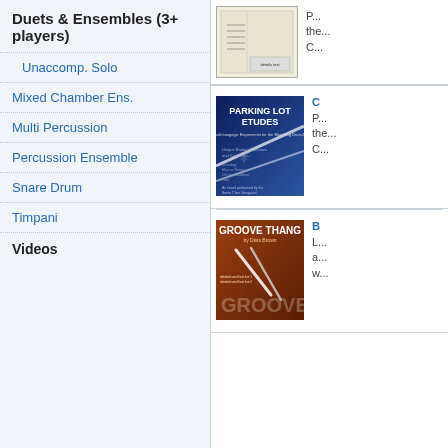Duets & Ensembles (3+ players)
Unaccomp. Solo
Mixed Chamber Ens.
Multi Percussion
Percussion Ensemble
Snare Drum
Timpani
Videos
[Figure (photo): Book cover - sheet music notation on cream/beige background]
[Figure (photo): Parking Lot Etudes - blue cover with text about battery exercises and cadences, performed by Santa Clara Vanguard]
P... the... C...
[Figure (photo): Groove Thang - orange/brown cover with drumsticks]
L... a... w...